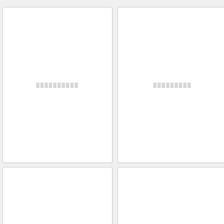[Figure (other): Blank document thumbnail card, top-left, with placeholder text rendered as redacted blocks]
[Figure (other): Blank document thumbnail card, top-center, with placeholder text rendered as redacted blocks]
[Figure (other): Partial document thumbnail card, top-right, partially cut off, with inner white card element visible]
[Figure (other): Blank document thumbnail card, bottom-left, with placeholder text rendered as redacted blocks]
[Figure (other): Blank document thumbnail card, bottom-center, with placeholder text rendered as redacted blocks]
[Figure (other): Partial document thumbnail card, bottom-right, partially cut off]